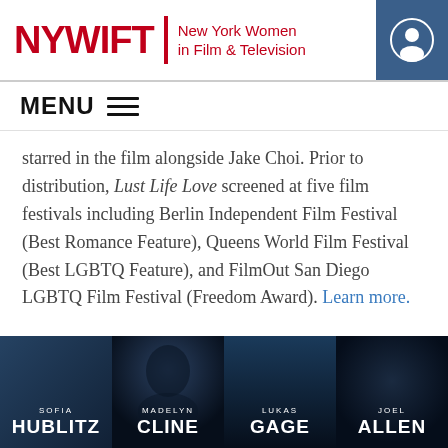NYWIFT | New York Women in Film & Television
MENU
starred in the film alongside Jake Choi. Prior to distribution, Lust Life Love screened at five film festivals including Berlin Independent Film Festival (Best Romance Feature), Queens World Film Festival (Best LGBTQ Feature), and FilmOut San Diego LGBTQ Film Festival (Freedom Award). Learn more.
[Figure (photo): Film poster strip showing four cast members: Sofia Hublitz, Madelyn Cline, Lukas Gage, Joel Allen on dark blue cinematic backgrounds]